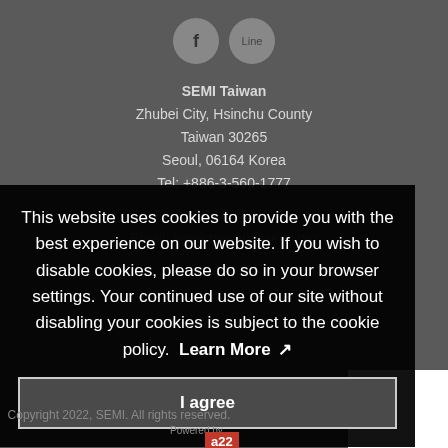[Figure (illustration): Two circular social media icon buttons: Facebook (f) and Line, displayed on gray background]
SEMI Taiwan
Zhubei City, Hsinchu County
Taiwan 30265
Seoul, 06164 Korea
Tel: +886-3-560-1777
Fax: +886-3-560-1555
Email: semictaiwan@semi.org
This website uses cookies to provide you with the best experience on our website. If you wish to disable cookies, please do so in your browser settings. Your continued use of our site without disabling your cookies is subject to the cookie policy.  Learn More
I agree
Copyright 2022, SEMI. All rights reserved.
Powered by
[Figure (logo): a22 logo in red background]